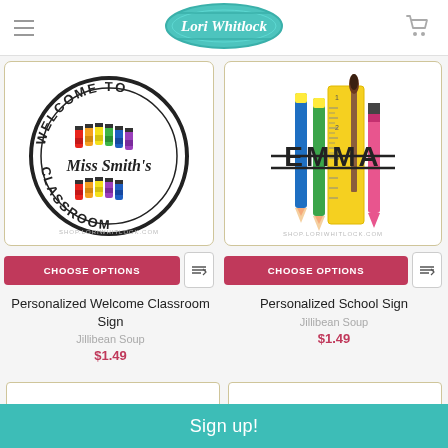Lori Whitlock
[Figure (illustration): Circular stamp-style illustration with 'WELCOME TO Miss Smith's CLASSROOM' text and colorful crayons in center]
CHOOSE OPTIONS
Personalized Welcome Classroom Sign
Jillibean Soup
$1.49
[Figure (illustration): School supplies illustration with pencils, crayons, ruler, paintbrush arranged with name EMMA in bold text]
CHOOSE OPTIONS
Personalized School Sign
Jillibean Soup
$1.49
Sign up!